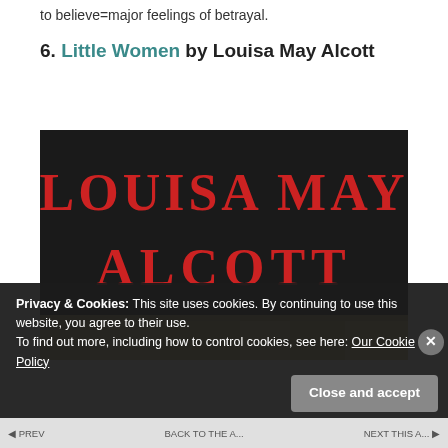to believe=major feelings of betrayal.
6. Little Women by Louisa May Alcott
[Figure (photo): Book cover of Louisa May Alcott's Little Women — dark background with large red serif text reading 'LOUISA MAY ALCOTT', partial book spines visible at bottom.]
Privacy & Cookies: This site uses cookies. By continuing to use this website, you agree to their use.
To find out more, including how to control cookies, see here: Our Cookie Policy
Close and accept